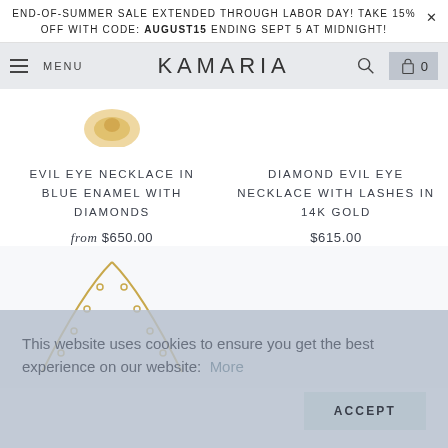END-OF-SUMMER SALE EXTENDED THROUGH LABOR DAY! TAKE 15% OFF WITH CODE: AUGUST15 ENDING SEPT 5 AT MIDNIGHT!
MENU   KAMARIA   0
EVIL EYE NECKLACE IN BLUE ENAMEL WITH DIAMONDS
from $650.00
DIAMOND EVIL EYE NECKLACE WITH LASHES IN 14K GOLD
$615.00
[Figure (photo): Gold chain necklace product image, partial view]
This website uses cookies to ensure you get the best experience on our website: More
ACCEPT